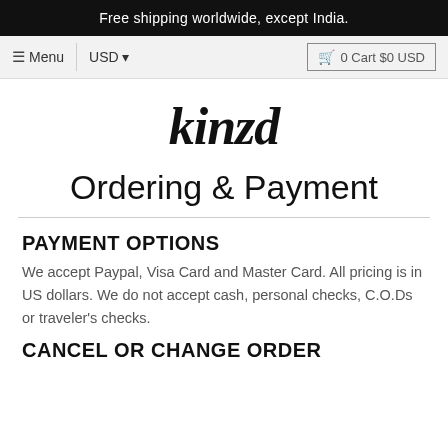Free shipping worldwide, except India.
[Figure (screenshot): Navigation bar with Menu, USD currency selector, and 0 Cart $0 USD button]
[Figure (logo): kinzd logo in italic script font]
Ordering & Payment
PAYMENT OPTIONS
We accept Paypal, Visa Card and Master Card. All pricing is in US dollars. We do not accept cash, personal checks, C.O.Ds or traveler's checks.
CANCEL OR CHANGE ORDER